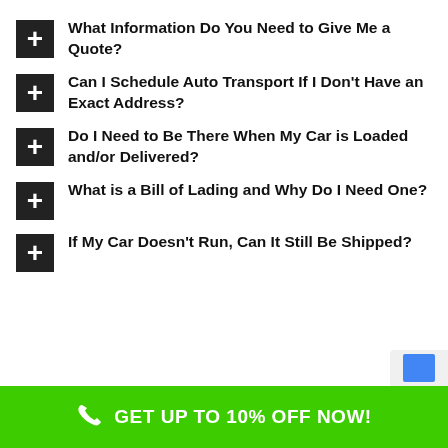What Information Do You Need to Give Me a Quote?
Can I Schedule Auto Transport If I Don't Have an Exact Address?
Do I Need to Be There When My Car is Loaded and/or Delivered?
What is a Bill of Lading and Why Do I Need One?
If My Car Doesn't Run, Can It Still Be Shipped?
GET UP TO 10% OFF NOW!